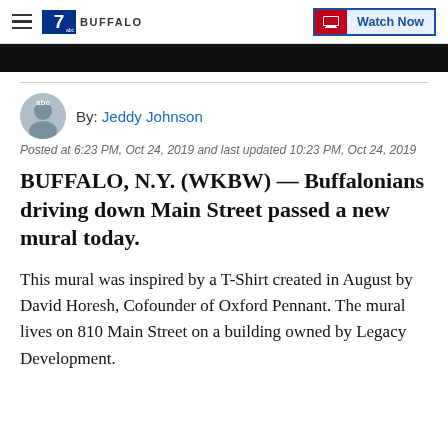7 BUFFALO | Watch Now
[Figure (screenshot): Black video thumbnail bar]
By: Jeddy Johnson
Posted at 6:23 PM, Oct 24, 2019 and last updated 10:23 PM, Oct 24, 2019
BUFFALO, N.Y. (WKBW) — Buffalonians driving down Main Street passed a new mural today.
This mural was inspired by a T-Shirt created in August by David Horesh, Cofounder of Oxford Pennant. The mural lives on 810 Main Street on a building owned by Legacy Development.